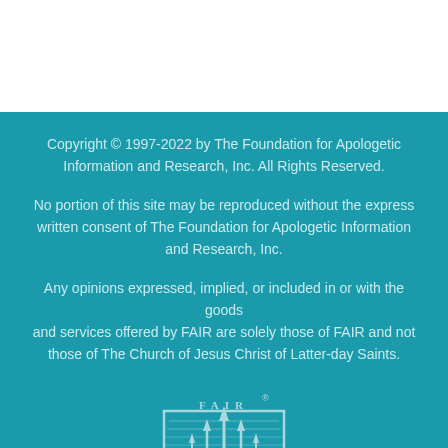Copyright © 1997-2022 by The Foundation for Apologetic Information and Research, Inc. All Rights Reserved.
No portion of this site may be reproduced without the express written consent of The Foundation for Apologetic Information and Research, Inc.
Any opinions expressed, implied, or included in or with the goods and services offered by FAIR are solely those of FAIR and not those of The Church of Jesus Christ of Latter-day Saints.
[Figure (logo): FAIR logo — shield shape with stylized temple spires and the letters F A I R at the top, with a registered trademark symbol]